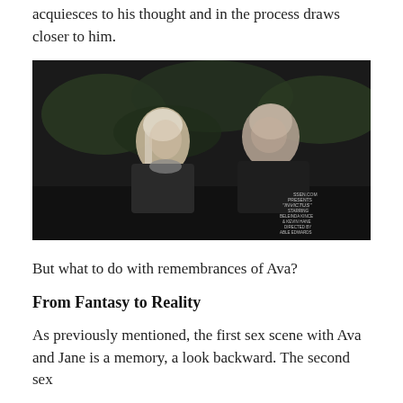acquiesces to his thought and in the process draws closer to him.
[Figure (photo): Night-time scene of a woman with light hair and a man with shaved head, both in dark clothing, sitting outdoors among dark foliage. Text overlay in bottom-right reads: SSEN.COM PRESENTS "INVICTUS" STARRING BELEINDA KINCE & KEVIN HANE DIRECTED BY ABLE EDWARDS]
But what to do with remembrances of Ava?
From Fantasy to Reality
As previously mentioned, the first sex scene with Ava and Jane is a memory, a look backward. The second sex